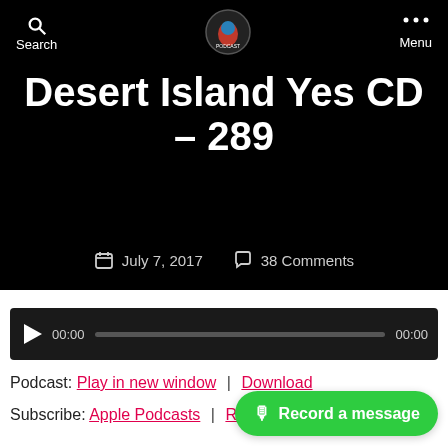Search | [logo] | Menu
Desert Island Yes CD – 289
July 7, 2017   38 Comments
[Figure (screenshot): Audio player with play button, time display 00:00, progress bar, and end time 00:00]
Podcast: Play in new window | Download
Subscribe: Apple Podcasts | RSS
[Figure (other): Green 'Record a message' button with microphone icon]